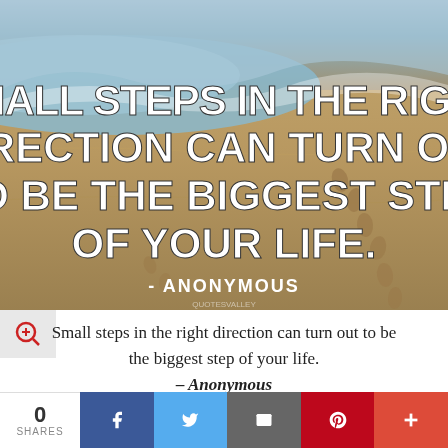[Figure (illustration): Beach scene with sand and footprints, overlaid with white bold text quote: 'SMALL STEPS IN THE RIGHT DIRECTION CAN TURN OUT TO BE THE BIGGEST STEP OF YOUR LIFE.' - ANONYMOUS]
Small steps in the right direction can turn out to be the biggest step of your life. – Anonymous
0 SHARES | Facebook | Twitter | Email | Pinterest | Plus